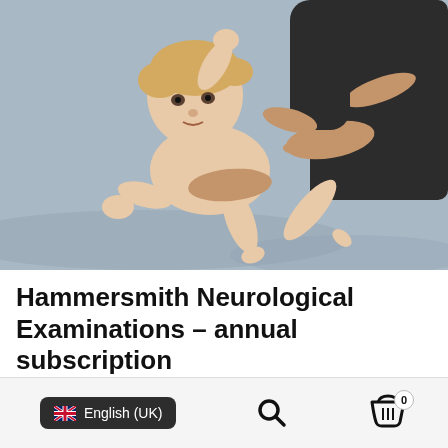[Figure (photo): A baby lying on a light blue surface being examined by an adult (clinician). The baby is unclothed, blonde, and the adult's hands support and hold the baby in a neurological examination posture.]
Hammersmith Neurological Examinations – annual subscription
READ MORE
English (UK)  [search icon]  [cart icon with badge 0]